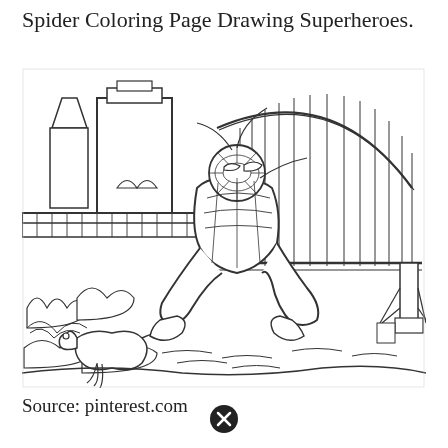Spider Coloring Page Drawing Superheroes.
[Figure (illustration): A line-art coloring page illustration showing Spider-Man in a dynamic pose in front of the Sydney Harbour Bridge, with tall city buildings on the left, a large arched bridge in the background, trees and bushes in the foreground, and a lizard/dinosaur creature on the lower left.]
Source: pinterest.com
[Figure (other): A black circle with an X icon (close/cancel button)]